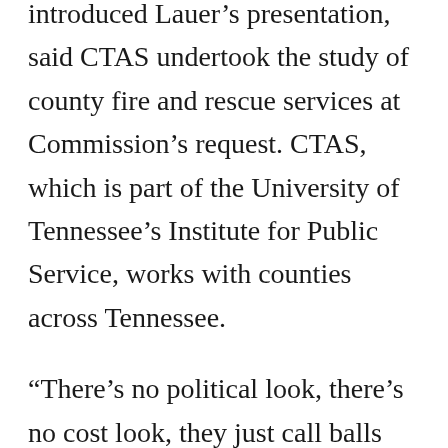introduced Lauer's presentation, said CTAS undertook the study of county fire and rescue services at Commission's request. CTAS, which is part of the University of Tennessee's Institute for Public Service, works with counties across Tennessee.
“There’s no political look, there’s no cost look, they just call balls and strikes for us,” Anders said.
Lauer seconded that. “We try to look at this very impartially,” he